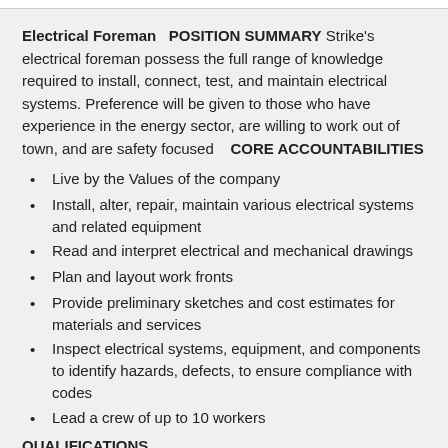Electrical Foreman   POSITION SUMMARY Strike's electrical foreman possess the full range of knowledge required to install, connect, test, and maintain electrical systems. Preference will be given to those who have experience in the energy sector, are willing to work out of town, and are safety focused   CORE ACCOUNTABILITIES
Live by the Values of the company
Install, alter, repair, maintain various electrical systems and related equipment
Read and interpret electrical and mechanical drawings
Plan and layout work fronts
Provide preliminary sketches and cost estimates for materials and services
Inspect electrical systems, equipment, and components to identify hazards, defects, to ensure compliance with codes
Lead a crew of up to 10 workers
QUALIFICATIONS